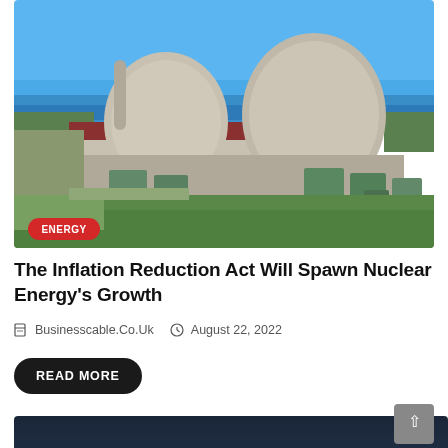[Figure (photo): Aerial view of a nuclear power plant with two large concrete domes, industrial storage tanks, red-roofed building, and ocean in the background under clear blue sky. An 'ENERGY' badge appears in the bottom-left corner of the image.]
The Inflation Reduction Act Will Spawn Nuclear Energy's Growth
Businesscable.Co.Uk   August 22, 2022
READ MORE